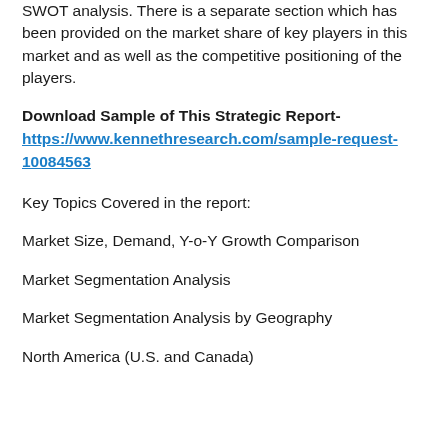SWOT analysis. There is a separate section which has been provided on the market share of key players in this market and as well as the competitive positioning of the players.
Download Sample of This Strategic Report- https://www.kennethresearch.com/sample-request-10084563
Key Topics Covered in the report:
Market Size, Demand, Y-o-Y Growth Comparison
Market Segmentation Analysis
Market Segmentation Analysis by Geography
North America (U.S. and Canada)